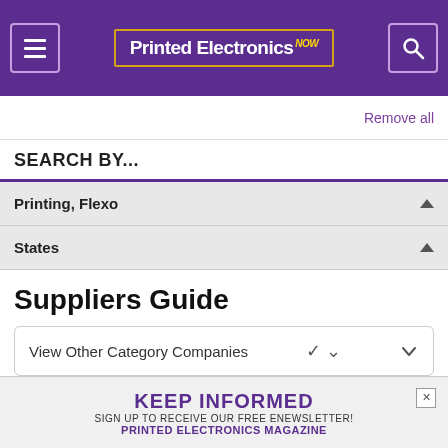Printed Electronics NOW
Remove all
SEARCH BY...
Printing, Flexo
States
Suppliers Guide
View Other Category Companies
Select an option
Insulectro Printed
KEEP INFORMED
SIGN UP TO RECEIVE OUR FREE ENEWSLETTER!
PRINTED ELECTRONICS MAGAZINE